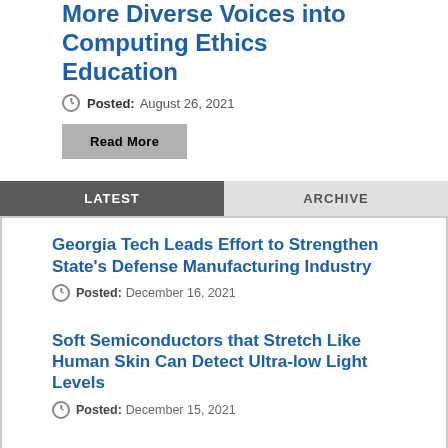More Diverse Voices into Computing Ethics Education
Posted: August 26, 2021
Read More
LATEST | ARCHIVE
Georgia Tech Leads Effort to Strengthen State's Defense Manufacturing Industry
Posted: December 16, 2021
Soft Semiconductors that Stretch Like Human Skin Can Detect Ultra-low Light Levels
Posted: December 15, 2021
Life-saving Device Providing Breath...